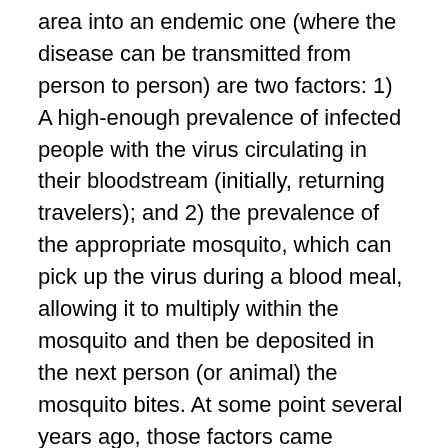area into an endemic one (where the disease can be transmitted from person to person) are two factors: 1) A high-enough prevalence of infected people with the virus circulating in their bloodstream (initially, returning travelers); and 2) the prevalence of the appropriate mosquito, which can pick up the virus during a blood meal, allowing it to multiply within the mosquito and then be deposited in the next person (or animal) the mosquito bites. At some point several years ago, those factors came together, and dengue is now endemic in some subtropical areas in the U.S., particularly in parts of Florida.
A couple of years ago, a different virus, called chikungunya, began to make its appearance in the Caribbean, and the cycle described above has been